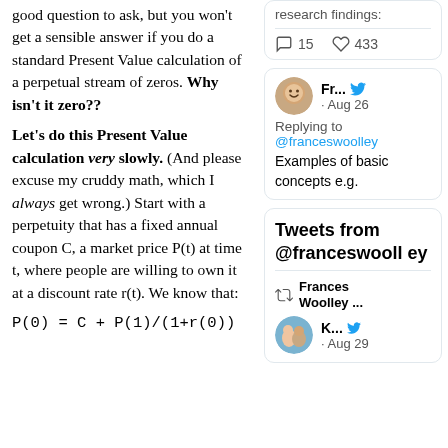good question to ask, but you won't get a sensible answer if you do a standard Present Value calculation of a perpetual stream of zeros. Why isn't it zero??
Let's do this Present Value calculation very slowly. (And please excuse my cruddy math, which I always get wrong.) Start with a perpetuity that has a fixed annual coupon C, a market price P(t) at time t, where people are willing to own it at a discount rate r(t). We know that:
[Figure (screenshot): Tweet showing 15 comments and 433 likes icons]
[Figure (screenshot): Tweet from Fr... replying to @franceswoolley on Aug 26: Examples of basic concepts e.g.]
Tweets from @franceswoolley
[Figure (screenshot): Retweet by Frances Woolley... and K... with Twitter bird icon, Aug 29]